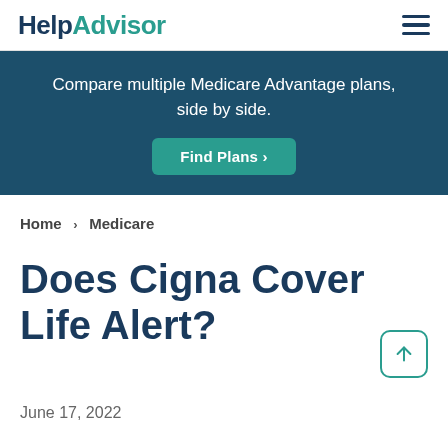HelpAdvisor
Compare multiple Medicare Advantage plans, side by side.
Find Plans >
Home > Medicare
Does Cigna Cover Life Alert?
June 17, 2022